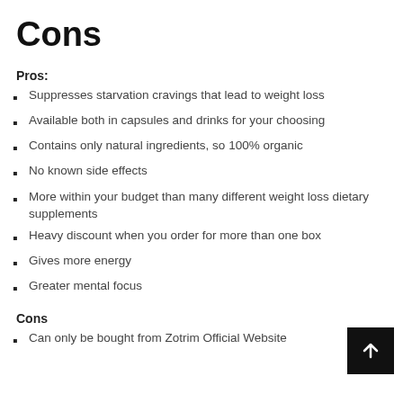Cons
Pros:
Suppresses starvation cravings that lead to weight loss
Available both in capsules and drinks for your choosing
Contains only natural ingredients, so 100% organic
No known side effects
More within your budget than many different weight loss dietary supplements
Heavy discount when you order for more than one box
Gives more energy
Greater mental focus
Cons
Can only be bought from Zotrim Official Website